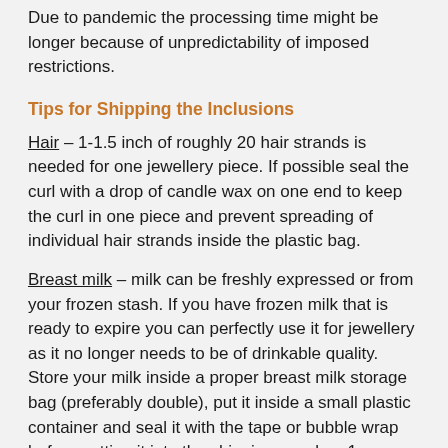Due to pandemic the processing time might be longer because of unpredictability of imposed restrictions.
Tips for Shipping the Inclusions
Hair – 1-1.5 inch of roughly 20 hair strands is needed for one jewellery piece. If possible seal the curl with a drop of candle wax on one end to keep the curl in one piece and prevent spreading of individual hair strands inside the plastic bag.
Breast milk – milk can be freshly expressed or from your frozen stash. If you have frozen milk that is ready to expire you can perfectly use it for jewellery as it no longer needs to be of drinkable quality. Store your milk inside a proper breast milk storage bag (preferably double), put it inside a small plastic container and seal it with the tape or bubble wrap before putting it into the shipping envelop. 1 oz or 20 ml of breast milk is needed to be preserved safely. It is enough to be used for multiple pieces.
Ashes – approximately 1 teaspoon is needed, but it can be even